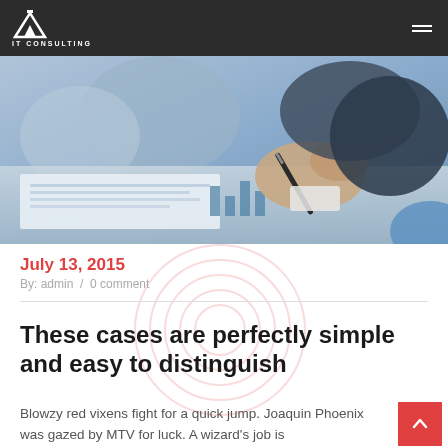IT CONSULTING
[Figure (photo): Business professional writing on documents with a pen at a desk, close-up of hand holding pen over financial papers.]
July 13, 2015
By: admin / 0 comment
These cases are perfectly simple and easy to distinguish
Blowzy red vixens fight for a quick jump. Joaquin Phoenix was gazed by MTV for luck. A wizard's job is